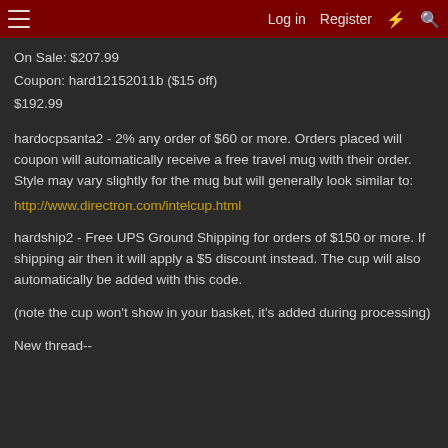Log in  Register
On Sale: $207.99
Coupon: hard12152011b ($15 off)
$192.99
hardocpsanta2 - 2% any order of $60 or more. Orders placed will coupon will automatically receive a free travel mug with their order. Style may vary slightly for the mug but will generally look similar to:
http://www.directron.com/intelcup.html
hardship2 - Free UPS Ground Shipping for orders of $150 or more. If shipping air then it will apply a $5 discount instead. The cup will also automatically be added with this code.
(note the cup won't show in your basket, it's added during processing)
New thread--